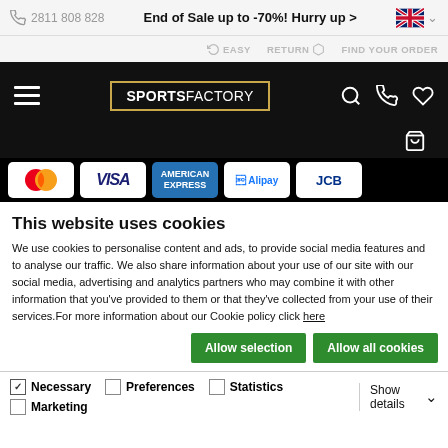2811 808 828  End of Sale up to -70%! Hurry up >
EASY RETURN  FIND YOUR ORDER
[Figure (screenshot): SportsFactory navigation bar with hamburger menu, logo, search, phone, heart, and bag icons on black background]
[Figure (screenshot): Payment method logos: Mastercard, VISA, American Express, Alipay, JCB]
This website uses cookies
We use cookies to personalise content and ads, to provide social media features and to analyse our traffic. We also share information about your use of our site with our social media, advertising and analytics partners who may combine it with other information that you've provided to them or that they've collected from your use of their services.For more information about our Cookie policy click here
Allow selection  Allow all cookies
Necessary  Preferences  Statistics  Marketing  Show details